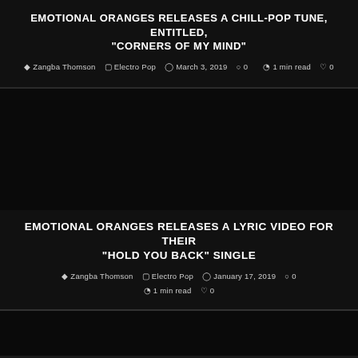EMOTIONAL ORANGES RELEASES A CHILL-POP TUNE, ENTITLED, "CORNERS OF MY MIND"
Zangba Thomson | Electro Pop | March 3, 2019 | 0 | 1 min read | 0
[Figure (photo): Dark/black image for second article]
EMOTIONAL ORANGES RELEASES A LYRIC VIDEO FOR THEIR "HOLD YOU BACK" SINGLE
Zangba Thomson | Electro Pop | January 17, 2019 | 0 | 1 min read | 0
[Figure (photo): Dark/black image for third article]